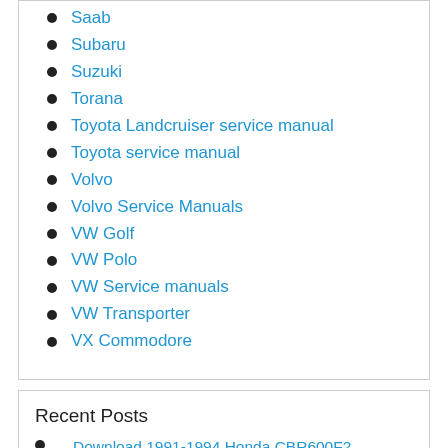Saab
Subaru
Suzuki
Torana
Toyota Landcruiser service manual
Toyota service manual
Volvo
Volvo Service Manuals
VW Golf
VW Polo
VW Service manuals
VW Transporter
VX Commodore
Recent Posts
Download 1991-1994 Honda CBR600F2 Motorcycle Workshop Repair Service Manual BEST Download